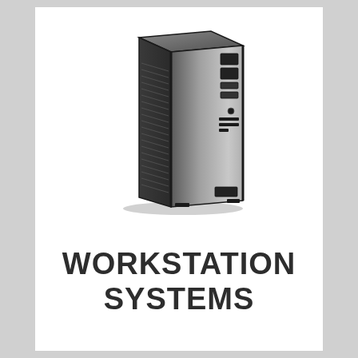[Figure (photo): A tower workstation computer case, dark metallic/silver finish with black trim, shown in a 3/4 front-right perspective view. The case has drive bays on the right side and ventilation on the left.]
WORKSTATION SYSTEMS